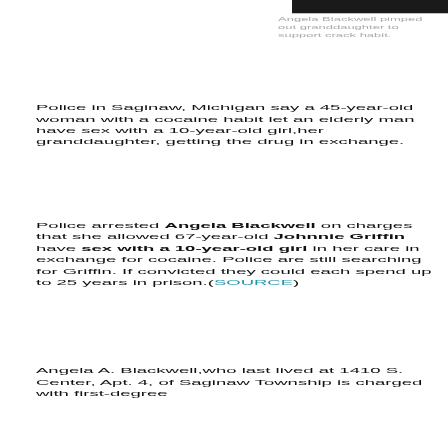[Figure (photo): Partial photo of Angela Blackwell, cropped showing only top of head/hair]
Angela Blackwell pimped out granddaughter to support crack habit.
Police in Saginaw, Michigan say a 45-year-old woman with a cocaine habit let an elderly man have sex with a 10-year-old girl,her granddaughter, getting the drug in exchange.
Police arrested Angela Blackwell on charges that she allowed 67-year-old Johnnie Griffin have sex with a 10-year-old girl in her care in exchange for cocaine. Police are still searching for Griffin. If convicted they could each spend up to 25 years in prison.(SOURCE)
Angela A. Blackwell,who last lived at 1410 S. Center, Apt. 4, of Saginaw Township is charged with first-degree